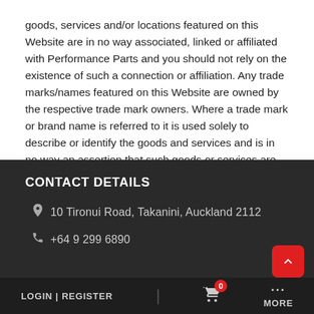goods, services and/or locations featured on this Website are in no way associated, linked or affiliated with Performance Parts and you should not rely on the existence of such a connection or affiliation. Any trade marks/names featured on this Website are owned by the respective trade mark owners. Where a trade mark or brand name is referred to it is used solely to describe or identify the goods and services and is in no way an assertion that such goods or services are endorsed by or connected to Performance Parts.
CONTACT DETAILS
10 Tironui Road, Takanini, Auckland 2112
+64 9 299 6890
LOGIN | REGISTER   [cart icon with 0]   MORE